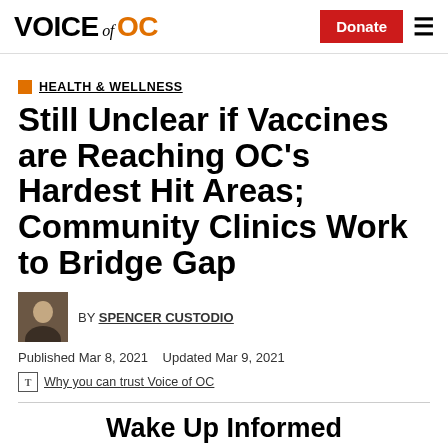VOICE of OC
HEALTH & WELLNESS
Still Unclear if Vaccines are Reaching OC's Hardest Hit Areas; Community Clinics Work to Bridge Gap
BY SPENCER CUSTODIO
Published Mar 8, 2021   Updated Mar 9, 2021
Why you can trust Voice of OC
Wake Up Informed